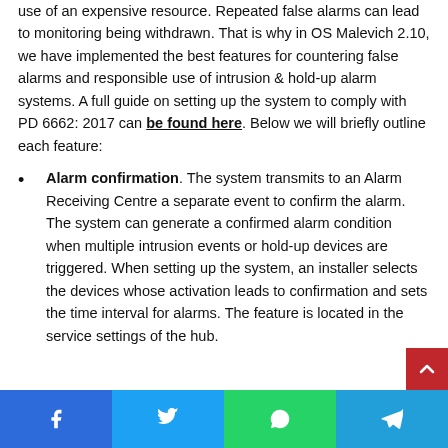use of an expensive resource. Repeated false alarms can lead to monitoring being withdrawn. That is why in OS Malevich 2.10, we have implemented the best features for countering false alarms and responsible use of intrusion & hold-up alarm systems. A full guide on setting up the system to comply with PD 6662: 2017 can be found here. Below we will briefly outline each feature:
Alarm confirmation. The system transmits to an Alarm Receiving Centre a separate event to confirm the alarm. The system can generate a confirmed alarm condition when multiple intrusion events or hold-up devices are triggered. When setting up the system, an installer selects the devices whose activation leads to confirmation and sets the time interval for alarms. The feature is located in the service settings of the hub.